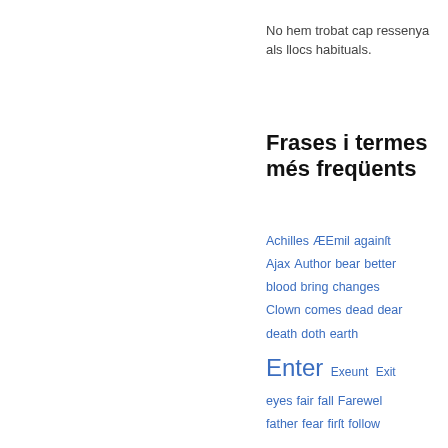No hem trobat cap ressenya als llocs habituals.
Frases i termes més freqüents
Achilles  ÆEmil  againſt  Ajax  Author  bear  better  blood  bring  changes  Clown  comes  dead  dear  death  doth  earth  Enter  Exeunt  Exit  eyes  fair  fall  Farewel  father  fear  firſt  follow  give  gone  Hamlet  hand  hath  head  hear  heart  heav'n  Hector